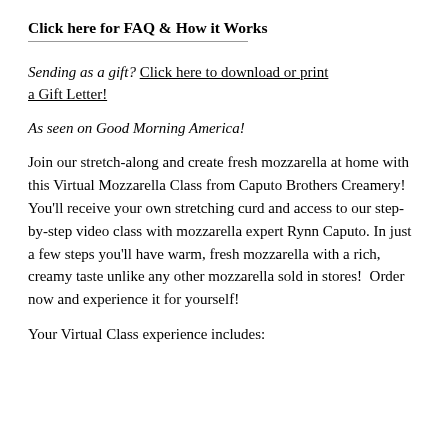Click here for FAQ & How it Works
Sending as a gift?  Click here to download or print a Gift Letter!
As seen on Good Morning America!
Join our stretch-along and create fresh mozzarella at home with this Virtual Mozzarella Class from Caputo Brothers Creamery!  You'll receive your own stretching curd and access to our step-by-step video class with mozzarella expert Rynn Caputo. In just a few steps you'll have warm, fresh mozzarella with a rich, creamy taste unlike any other mozzarella sold in stores!  Order now and experience it for yourself!
Your Virtual Class experience includes: